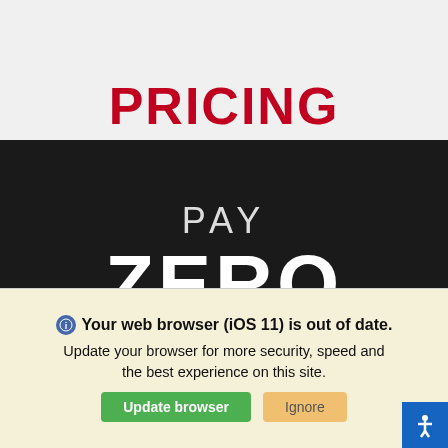PRICING
[Figure (illustration): Dark background promotional section with large white text reading PAY ZERO with a red horizontal divider, followed by 'Dealer Markups Over MSRP!' in white text]
Your web browser (iOS 11) is out of date. Update your browser for more security, speed and the best experience on this site.
Update browser | Ignore